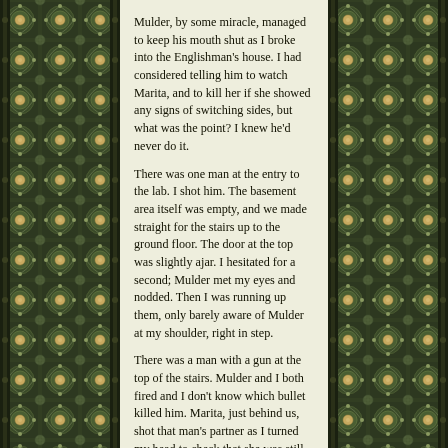Mulder, by some miracle, managed to keep his mouth shut as I broke into the Englishman's house. I had considered telling him to watch Marita, and to kill her if she showed any signs of switching sides, but what was the point? I knew he'd never do it.
There was one man at the entry to the lab. I shot him. The basement area itself was empty, and we made straight for the stairs up to the ground floor. The door at the top was slightly ajar. I hesitated for a second; Mulder met my eyes and nodded. Then I was running up them, only barely aware of Mulder at my shoulder, right in step.
There was a man with a gun at the top of the stairs. Mulder and I both fired and I don't know which bullet killed him. Marita, just behind us, shot that man's partner as I turned my head to check that she was still with us. Three down, but who knows how many they still had?
We were in the front hallway of the house. To our right the main stairway went curving up to the next floor. Between it and the front door was a door leading to the library, and another to the left of the front door, across from us, that led to a sitting room. To our left, a door led to the rooms at the back of the house: kitchen, dining room and two more living rooms. I could hear footsteps in that direction.
I had one goal, I told myself: to find Leilah and get her